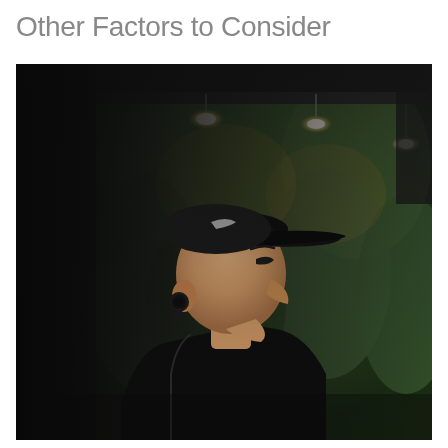Other Factors to Consider
[Figure (photo): A man wearing a black cap and black jacket, viewed from the side profile. He is wearing a wireless in-ear headphone/earbud in his left ear. The background shows a green plant wall and warm pendant lights outside a building.]